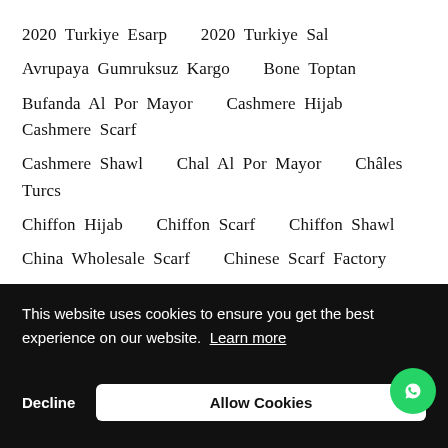2020 Turkiye Esarp   2020 Turkiye Sal
Avrupaya Gumruksuz Kargo   Bone Toptan
Bufanda Al Por Mayor   Cashmere Hijab   Cashmere Scarf
Cashmere Shawl   Chal Al Por Mayor   Châles Turcs
Chiffon Hijab   Chiffon Scarf   Chiffon Shawl
China Wholesale Scarf   Chinese Scarf Factory
Chinese Wholesale Scarf   Cin Toptan Esarp   Cin Toptan Sal
This website uses cookies to ensure you get the best experience on our website. Learn more
Decline   Allow Cookies